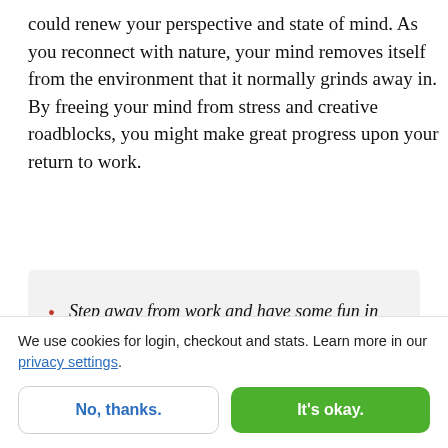could renew your perspective and state of mind. As you reconnect with nature, your mind removes itself from the environment that it normally grinds away in. By freeing your mind from stress and creative roadblocks, you might make great progress upon your return to work.
Step away from work and have some fun in order to bring back energy and
We use cookies for login, checkout and stats. Learn more in our privacy settings.